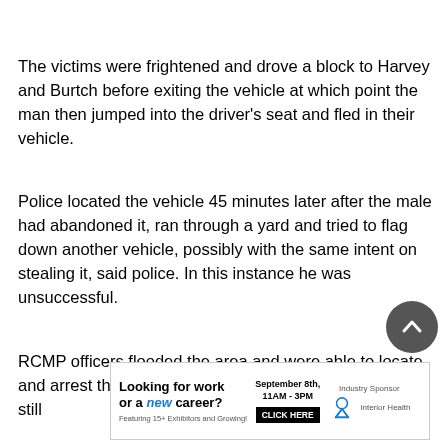The victims were frightened and drove a block to Harvey and Burtch before exiting the vehicle at which point the man then jumped into the driver’s seat and fled in their vehicle.
Police located the vehicle 45 minutes later after the male had abandoned it, ran through a yard and tried to flag down another vehicle, possibly with the same intent on stealing it, said police. In this instance he was unsuccessful.
RCMP officers flooded the area and were able to locate and arrest the man without incident. The investigation is still
[Figure (other): Advertisement banner: Looking for work or a new career? Featuring 15+ Exhibitors and Growing! September 8th, 11AM - 3PM, CLICK HERE. Industry Sponsor: Interior Health logo.]